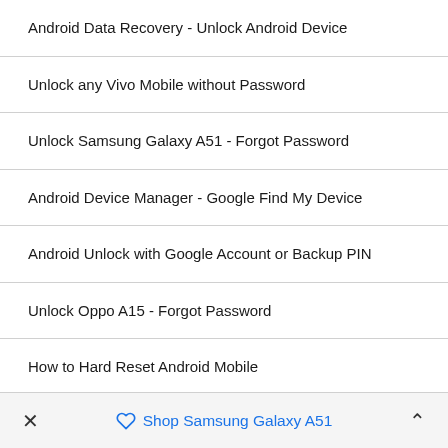Android Data Recovery - Unlock Android Device
Unlock any Vivo Mobile without Password
Unlock Samsung Galaxy A51 - Forgot Password
Android Device Manager - Google Find My Device
Android Unlock with Google Account or Backup PIN
Unlock Oppo A15 - Forgot Password
How to Hard Reset Android Mobile
× Shop Samsung Galaxy A51 ∧